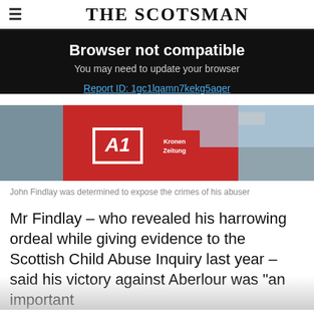THE SCOTSMAN
Browser not compatible
You may need to update your browser
Report ID: 1gc1lqamn7kekg5aqer
[Figure (photo): Man wearing a red jacket with A1 logo and Kronen Zeitung badge, city skyline in background]
John Findlay was determined to expose the crimes of his abuser
Mr Findlay – who revealed his harrowing ordeal while giving evidence to the Scottish Child Abuse Inquiry last year – said his victory against Aberlour was “an important